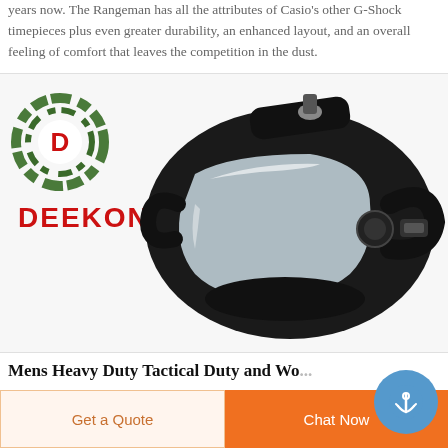years now. The Rangeman has all the attributes of Casio's other G-Shock timepieces plus even greater durability, an enhanced layout, and an overall feeling of comfort that leaves the competition in the dust.
[Figure (photo): Full-face tactical/gas mask with clear visor and black rubber body and straps, with Deekon brand logo (camouflage circular logo and red DEEKON text) in upper left corner, on white background.]
Mens Heavy Duty Tactical Duty and Wo...
Get a Quote
Chat Now